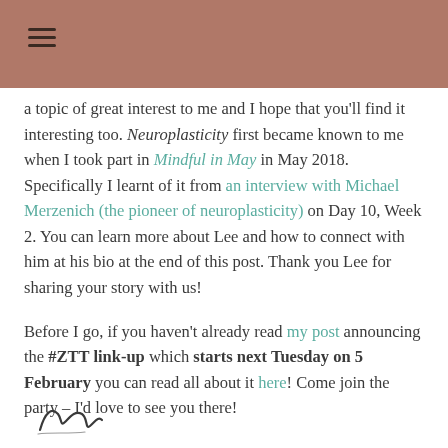≡
a topic of great interest to me and I hope that you'll find it interesting too. Neuroplasticity first became known to me when I took part in Mindful in May in May 2018. Specifically I learnt of it from an interview with Michael Merzenich (the pioneer of neuroplasticity) on Day 10, Week 2. You can learn more about Lee and how to connect with him at his bio at the end of this post. Thank you Lee for sharing your story with us!
Before I go, if you haven't already read my post announcing the #ZTT link-up which starts next Tuesday on 5 February you can read all about it here! Come join the party – I'd love to see you there!
[Figure (illustration): Handwritten signature or decorative script at bottom left of page]